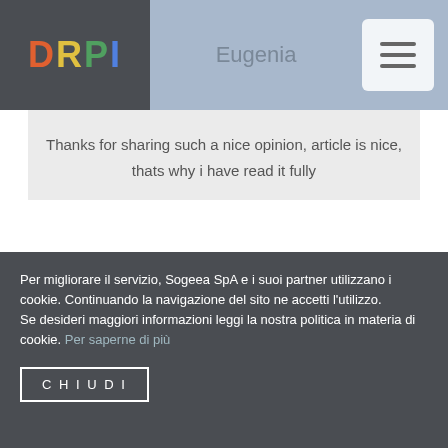DRPI | Eugenia
Thanks for sharing such a nice opinion, article is nice, thats why i have read it fully

Also visit my web-site – gema love138
Per migliorare il servizio, Sogeea SpA e i suoi partner utilizzano i cookie. Continuando la navigazione del sito ne accetti l'utilizzo.
Se desideri maggiori informazioni leggi la nostra politica in materia di cookie. Per saperne di più
CHIUDI